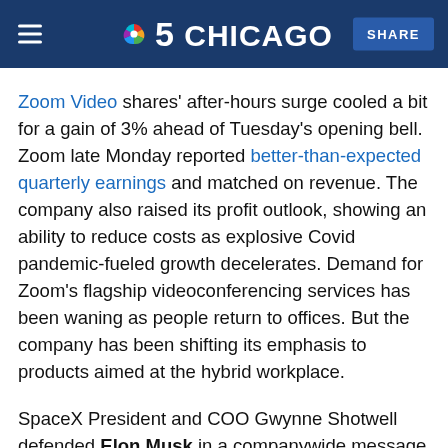NBC 5 Chicago — SHARE
Zoom Video shares' after-hours surge cooled a bit for a gain of 3% ahead of Tuesday's opening bell. Zoom late Monday reported better-than-expected quarterly earnings and matched on revenue. The company also raised its profit outlook, showing an ability to reduce costs as explosive Covid pandemic-fueled growth decelerates. Demand for Zoom's flagship videoconferencing services has been waning as people return to offices. But the company has been shifting its emphasis to products aimed at the hybrid workplace.
SpaceX President and COO Gwynne Shotwell defended Elon Musk in a companywide message last week, responding to sexual misconduct allegations directed at the billionaire